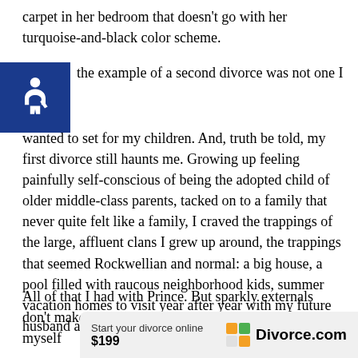carpet in her bedroom that doesn't go with her turquoise-and-black color scheme.
the example of a second divorce was not one I wanted to set for my children. And, truth be told, my first divorce still haunts me. Growing up feeling painfully self-conscious of being the adopted child of older middle-class parents, tacked on to a family that never quite felt like a family, I craved the trappings of the large, affluent clans I grew up around, the trappings that seemed Rockwellian and normal: a big house, a pool filled with raucous neighborhood kids, summer vacation homes to visit year after year with my future husband and children.
All of that I had with Prince. But sparkly externals don't make a marriage real, or healthy. Now I find myself
[Figure (infographic): Advertisement banner for Divorce.com showing 'Start your divorce online $199' with Divorce.com logo (orange and green quadrant circle icon)]